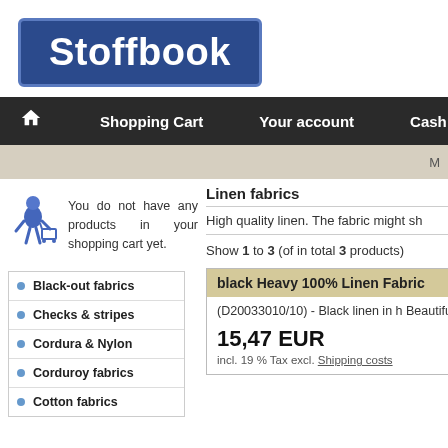[Figure (logo): Stoffbook logo — white bold text on dark blue rounded rectangle]
Shopping Cart   Your account   Cash b
M
[Figure (illustration): Blue cartoon figure pushing a shopping cart]
You do not have any products in your shopping cart yet.
Linen fabrics
High quality linen. The fabric might sh
Show 1 to 3 (of in total 3 products)
black Heavy 100% Linen Fabric
(D20033010/10) - Black linen in h Beautiful material....
15,47 EUR
incl. 19 % Tax excl. Shipping costs
Black-out fabrics
Checks & stripes
Cordura & Nylon
Corduroy fabrics
Cotton fabrics